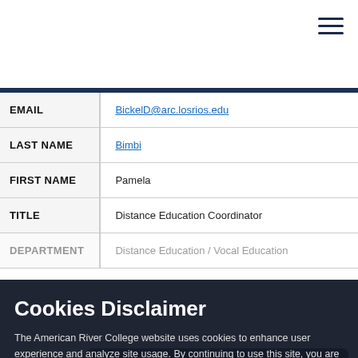American River College — navigation header with hamburger menu
| Field | Value |
| --- | --- |
| EMAIL | BickelD@arc.losrios.edu |
| LAST NAME | Bimbi |
| FIRST NAME | Pamela |
| TITLE | Distance Education Coordinator |
| DEPARTMENT | Distance Education / Vocal Education |
Cookies Disclaimer
The American River College website uses cookies to enhance user experience and analyze site usage. By continuing to use this site, you are giving us consent to do this. Review our Privacy Policy to learn more.
ACCEPT AND CLOSE